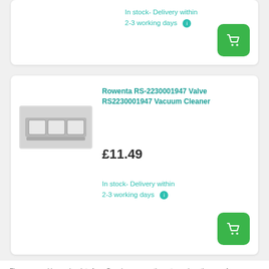In stock- Delivery within 2-3 working days
[Figure (screenshot): Partial product card from previous listing showing delivery info and add to cart button]
Rowenta RS-2230001947 Valve RS2230001947 Vacuum Cleaner
£11.49
In stock- Delivery within 2-3 working days
[Figure (photo): Product image of Rowenta RS-2230001947 Valve, a small vacuum cleaner part]
Fiyo uses cookies and scripts from Google, among others, to analyze the use of our website anonymously, so that you can enjoy a properly functioning website. After permission, we also use cookies and scripts from other parties to enable integration with our websites. More information is available in our Privacy Policy. Click accept or go to settings to change it.
✓ ACCEPT
2-3 working days